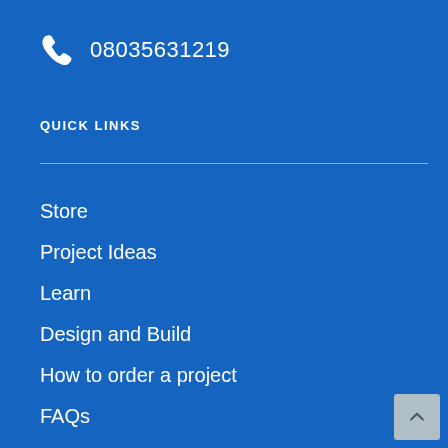08035631219
QUICK LINKS
Store
Project Ideas
Learn
Design and Build
How to order a project
FAQs